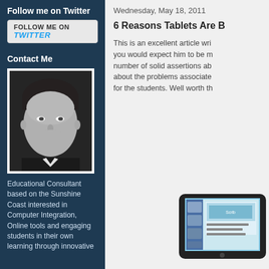Follow me on Twitter
[Figure (other): Twitter follow button with text FOLLOW ME ON twitter]
Contact Me
[Figure (photo): Black and white headshot photo of a man in a suit, smiling]
Educational Consultant based on the Sunshine Coast interested in Computer Integration, Online tools and engaging students in their own learning through innovative
Wednesday, May 18, 2011
6 Reasons Tablets Are B
This is an excellent article wri you would expect him to be m number of solid assertions ab about the problems associated for the students. Well worth th
[Figure (photo): Tablet device (iPad) showing content on screen, partially visible at bottom right]